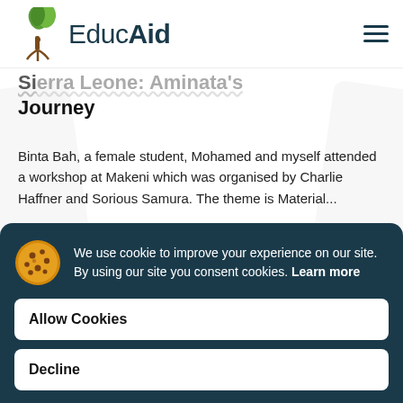EducAid
Sierra Leone: Aminata's Journey
Binta Bah, a female student, Mohamed and myself attended a workshop at Makeni which was organised by Charlie Haffner and Sorious Samura. The theme is Material...
Read More
We use cookie to improve your experience on our site. By using our site you consent cookies. Learn more
Allow Cookies
Decline